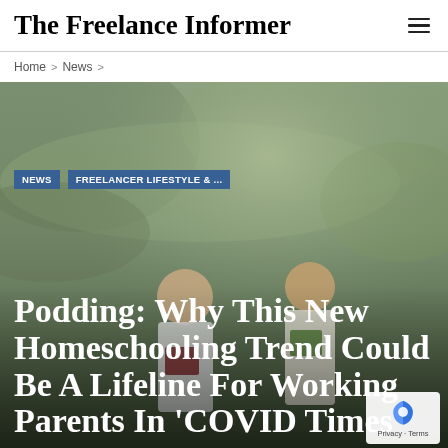The Freelance Informer
Home > News >
[Figure (photo): Two children in school uniforms standing outdoors in a lush green background, holding books and reading. The scene is in a garden or forest setting.]
NEWS   FREELANCER LIFESTYLE & ...
Podding: Why This New Homeschooling Trend Could Be A Lifeline For Working Parents In 'COVID Times'